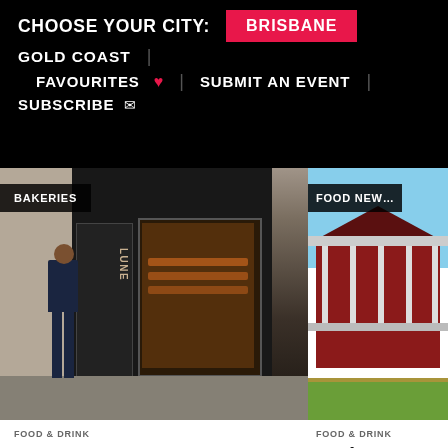CHOOSE YOUR CITY: BRISBANE | GOLD COAST | FAVOURITES ♥ | SUBMIT AN EVENT | SUBSCRIBE ✉
[Figure (photo): Exterior of Lune croissanterie on Burnett Lane, Brisbane. Dark facade with glass shopfront showing pastries inside. Man in suit walking on sidewalk. Tag: BAKERIES.]
[Figure (photo): Exterior of a Queenslander-style house, red/maroon with white verandah and posts, green lawn. Partial view, right side cut off. Tag: FOOD NEWS.]
FOOD & DRINK
We have liftoff – Lune's Burnett Lane croissanterie officially opens to the
FOOD & DRINK
Mapleton M Sunshine C